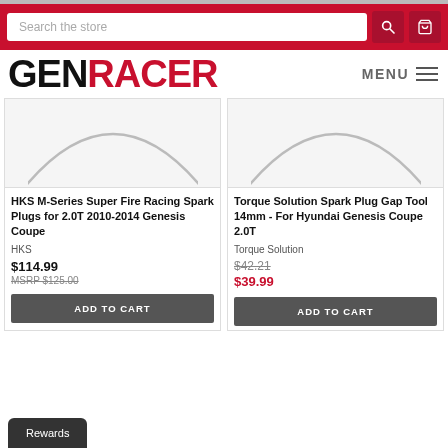GenRacer store page header with search bar and logo
[Figure (screenshot): Product image placeholder for HKS M-Series Super Fire Racing Spark Plugs - circular arc on light grey background]
HKS M-Series Super Fire Racing Spark Plugs for 2.0T 2010-2014 Genesis Coupe
HKS
$114.99
MSRP $125.00
[Figure (screenshot): Product image placeholder for Torque Solution Spark Plug Gap Tool - circular arc on light grey background]
Torque Solution Spark Plug Gap Tool 14mm - For Hyundai Genesis Coupe 2.0T
Torque Solution
$42.21
$39.99
Rewards